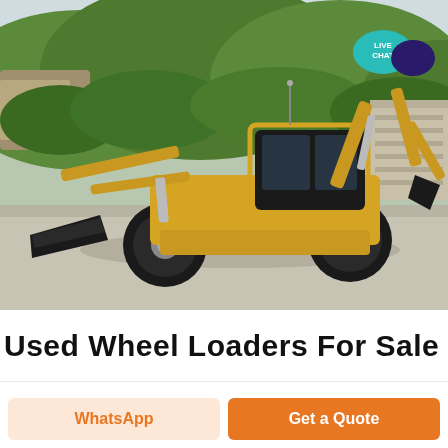[Figure (photo): Yellow backhoe loader / wheel loader parked on a concrete surface, with green hillside vegetation and stone wall in the background. A 'LIVE CHAT' speech-bubble badge is visible in the upper-right corner of the image.]
Used Wheel Loaders For Sale
WhatsApp
Get a Quote